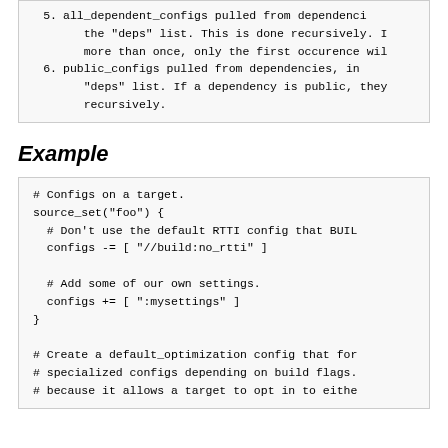5. all_dependent_configs pulled from dependencies in the "deps" list. This is done recursively. If a config appears more than once, only the first occurence will be used.
6. public_configs pulled from dependencies, in the "deps" list. If a dependency is public, they are applied recursively.
Example
# Configs on a target.
source_set("foo") {
  # Don't use the default RTTI config that BUILD
  configs -= [ "//build:no_rtti" ]

  # Add some of our own settings.
  configs += [ ":mysettings" ]
}

# Create a default_optimization config that for
# specialized configs depending on build flags.
# because it allows a target to opt in to eithe